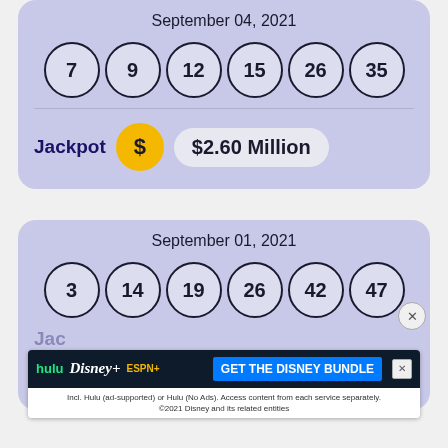September 04, 2021
[Figure (infographic): Lottery balls showing numbers 7, 9, 12, 15, 26, 35]
Jackpot  $2.60 Million
September 01, 2021
[Figure (infographic): Lottery balls showing numbers 3, 14, 19, 26, 42, 47]
[Figure (screenshot): Disney Bundle advertisement: hulu, Disney+, ESPN+, GET THE DISNEY BUNDLE. Incl. Hulu (ad-supported) or Hulu (No Ads). Access content from each service separately. ©2021 Disney and its related entities]